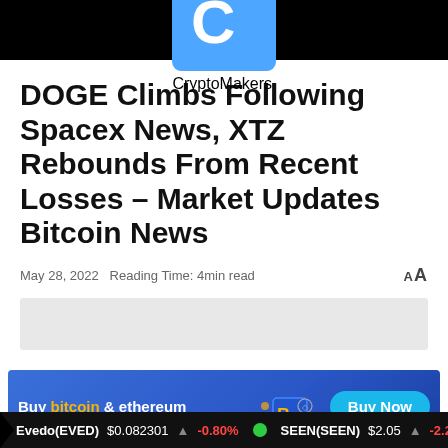CryptoMakers
DOGE Climbs Following Spacex News, XTZ Rebounds From Recent Losses – Market Updates Bitcoin News
May 28, 2022   Reading Time: 4min read
[Figure (other): Gray image placeholder area]
[Figure (infographic): Advertisement banner: Buy bitcoin & ethereum safe and secure. Buy Now button with Visa, Mastercard payment icons.]
Evedo(EVED) $0.082301  -0.80%   SEEN(SEEN) $2.05  -2.27%